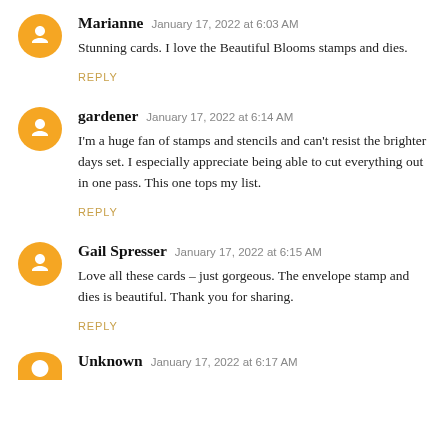Marianne January 17, 2022 at 6:03 AM
Stunning cards. I love the Beautiful Blooms stamps and dies.
REPLY
gardener January 17, 2022 at 6:14 AM
I'm a huge fan of stamps and stencils and can't resist the brighter days set. I especially appreciate being able to cut everything out in one pass. This one tops my list.
REPLY
Gail Spresser January 17, 2022 at 6:15 AM
Love all these cards - just gorgeous. The envelope stamp and dies is beautiful. Thank you for sharing.
REPLY
Unknown January 17, 2022 at 6:17 AM